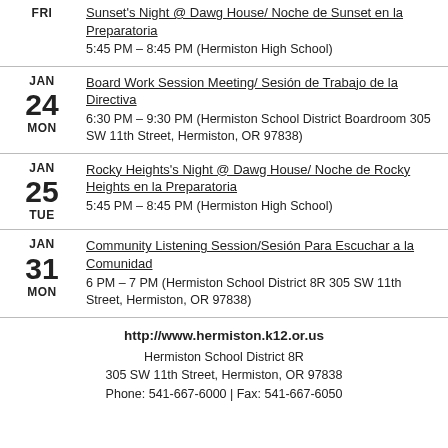FRI — Sunset's Night @ Dawg House/ Noche de Sunset en la Preparatoria — 5:45 PM – 8:45 PM (Hermiston High School)
JAN 24 MON — Board Work Session Meeting/ Sesión de Trabajo de la Directiva — 6:30 PM – 9:30 PM (Hermiston School District Boardroom 305 SW 11th Street, Hermiston, OR 97838)
JAN 25 TUE — Rocky Heights's Night @ Dawg House/ Noche de Rocky Heights en la Preparatoria — 5:45 PM – 8:45 PM (Hermiston High School)
JAN 31 MON — Community Listening Session/Sesión Para Escuchar a la Comunidad — 6 PM – 7 PM (Hermiston School District 8R 305 SW 11th Street, Hermiston, OR 97838)
http://www.hermiston.k12.or.us
Hermiston School District 8R
305 SW 11th Street, Hermiston, OR 97838
Phone: 541-667-6000 | Fax: 541-667-6050